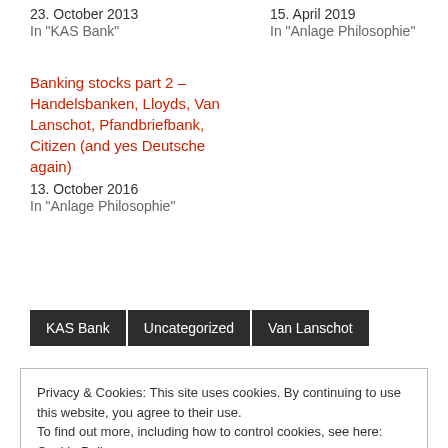23. October 2013
In "KAS Bank"
15. April 2019
In "Anlage Philosophie"
Banking stocks part 2 – Handelsbanken, Lloyds, Van Lanschot, Pfandbriefbank, Citizen (and yes Deutsche again)
13. October 2016
In "Anlage Philosophie"
KAS Bank
Uncategorized
Van Lanschot
Privacy & Cookies: This site uses cookies. By continuing to use this website, you agree to their use.
To find out more, including how to control cookies, see here: Cookie Policy
Close and accept